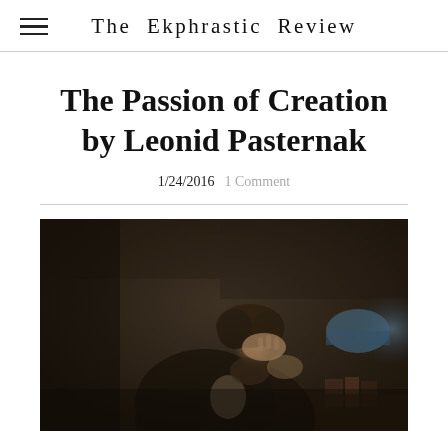The Ekphrastic Review
The Passion of Creation by Leonid Pasternak
1/24/2016  1 Comment
[Figure (photo): Painting by Leonid Pasternak showing a bearded man seated at a desk, hand pressed to forehead in a gesture of deep thought or anguish, with books and a blue lamp visible in the background. Dark, moody oil painting.]